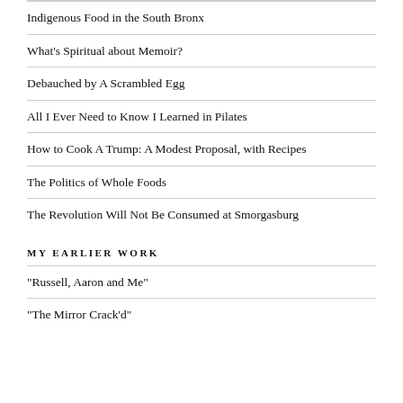Indigenous Food in the South Bronx
What's Spiritual about Memoir?
Debauched by A Scrambled Egg
All I Ever Need to Know I Learned in Pilates
How to Cook A Trump: A Modest Proposal, with Recipes
The Politics of Whole Foods
The Revolution Will Not Be Consumed at Smorgasburg
MY EARLIER WORK
"Russell, Aaron and Me"
"The Mirror Crack'd"